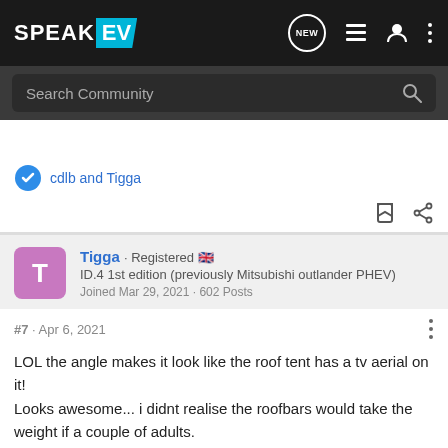SPEAK EV — Navigation bar with NEW, list, user, and menu icons
Search Community
cdlb and Tigga
Tigga · Registered 🇬🇧
ID.4 1st edition (previously Mitsubishi outlander PHEV)
Joined Mar 29, 2021 · 602 Posts
#7 · Apr 6, 2021
LOL the angle makes it look like the roof tent has a tv aerial on it!
Looks awesome... i didnt realise the roofbars would take the weight if a couple of adults.